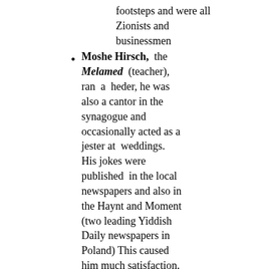footsteps and were all Zionists and businessmen
Moshe Hirsch, the Melamed (teacher), ran a heder, he was also a cantor in the synagogue and occasionally acted as a jester at weddings. His jokes were published in the local newspapers and also in the Haynt and Moment (two leading Yiddish Daily newspapers in Poland) This caused him much satisfaction.
There were two prominent Communists who came from Trochinbrod: